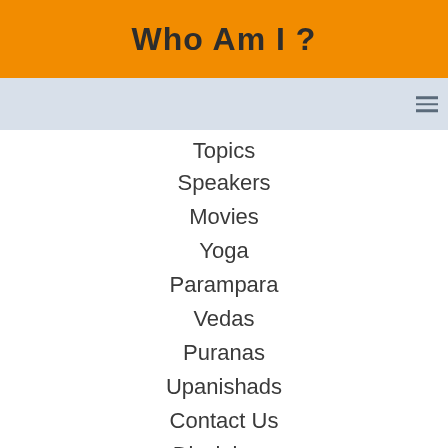Who Am I ?
Topics
Speakers
Movies
Yoga
Parampara
Vedas
Puranas
Upanishads
Contact Us
Disclaimer
[Figure (illustration): Scroll-to-top arrow button icon in light blue]